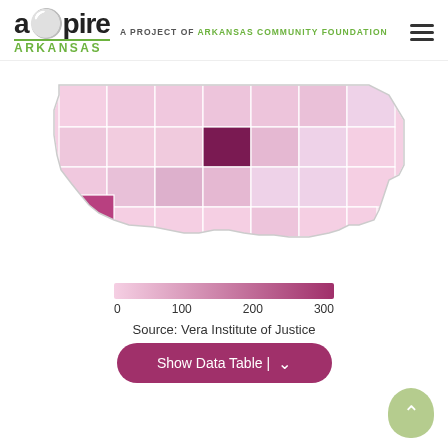aspire ARKANSAS — A PROJECT OF ARKANSAS COMMUNITY FOUNDATION
[Figure (map): Choropleth map of Arkansas counties shaded in pink-to-dark-purple gradient indicating incarceration rates per 100,000. One central county (Conway or Perry) is darkly shaded (~300+), and a county in the southwest (Calhoun or equivalent) is medium-dark. Most counties are light pink.]
[Figure (other): Horizontal color legend bar ranging from light pink (0) to dark purple (300), with tick labels at 0, 100, 200, 300]
Source: Vera Institute of Justice
Show Data Table |